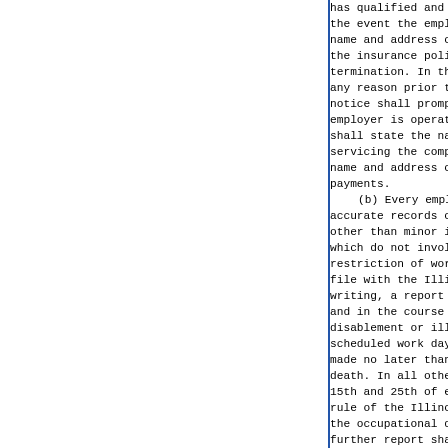has qualified and is operating the event the employer is insured name and address of his or her i the insurance policy, its effe termination. In the event of the any reason prior to the termin notice shall promptly be correcte employer is operating as a sel shall state the name and addr servicing the compensation payme name and address of the person i payments. (b) Every employer subjec accurate records of work-related other than minor injuries requiri which do not involve medical tre restriction of work or motion o file with the Illinois Workers writing, a report of all occupa and in the course of the employm disablement or illness resulting scheduled work days. In the case made no later than 2 working da death. In all other cases such r 15th and 25th of each month unles rule of the Illinois Workers' Co the occupational disease result further report shall be made as such permanent disability has res All reports shall state the date